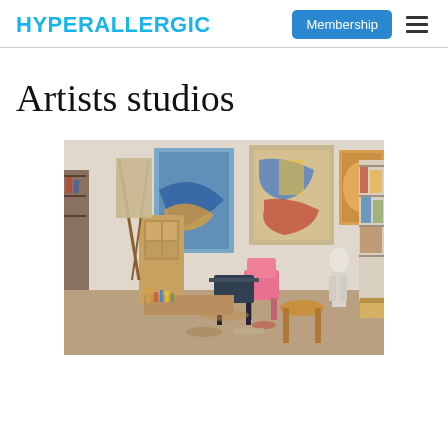HYPERALLERGIC | Membership
Artists studios
[Figure (photo): Interior of a cluttered artist studio filled with paintings on the walls, an easel, wooden furniture including a cabinet and stool, scattered art supplies, a pink chair, a white figure/mannequin, and shelving units on the right side packed with various items.]